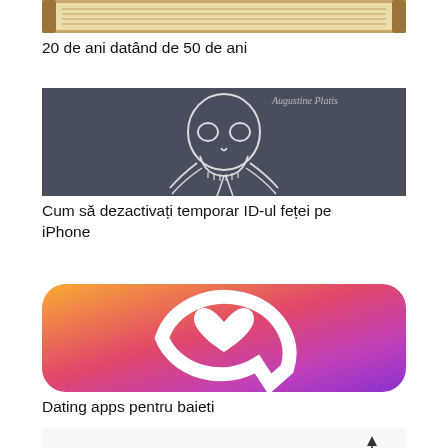[Figure (photo): Partial view of a decorative scroll or certificate with text, warm brown/golden tones]
20 de ani datând de 50 de ani
[Figure (illustration): White line drawing of a baby/fetus skull on dark gray background, with cursive text in top right corner]
Cum să dezactivați temporar ID-ul feței pe iPhone
[Figure (logo): Colorful app icon with gradient background (orange to pink-purple), white speech bubble ring with a heart in the center - dating app icon]
Dating apps pentru baieti
[Figure (map): Black and white map with labeled regions and a north arrow indicator in the top right]